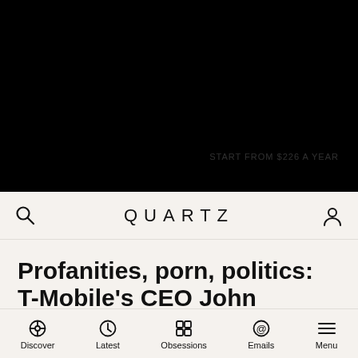[Figure (other): Black hero image area, mostly black with faint watermark text 'START FROM $226 A YEAR' in bottom right]
QUARTZ
Profanities, porn, politics: T-Mobile's CEO John Legere is back on on the promotion trail
Discover  Latest  Obsessions  Emails  Menu